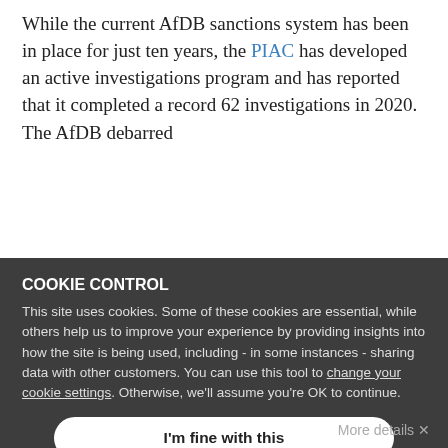While the current AfDB sanctions system has been in place for just ten years, the PIAC has developed an active investigations program and has reported that it completed a record 62 investigations in 2020. The AfDB debarred
13 firms in 2020, resulting in 49 total debarments on affiliated firms and individuals that ranged from one to three years in each of the cases. This brings the cumulative debarments involving 80 affiliated firms and individuals with debarment periods ranging
COOKIE CONTROL
This site uses cookies. Some of these cookies are essential, while others help us to improve your experience by providing insights into how the site is being used, including - in some instances - sharing data with other customers. You can use this tool to change your cookie settings. Otherwise, we'll assume you're OK to continue.
I'm fine with this
Looking ahead, Paula Santos Da Co... Acting PIAC Director, has emphasized in